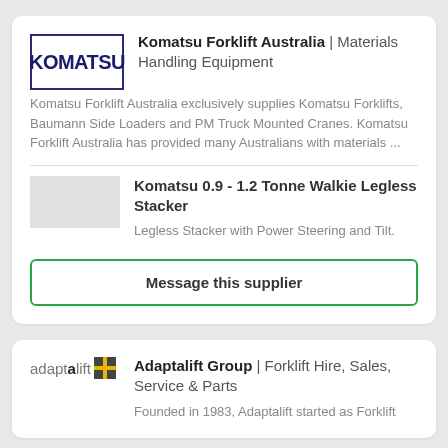[Figure (logo): Komatsu logo in dark navy blue uppercase letters inside a rectangular border]
Komatsu Forklift Australia | Materials Handling Equipment
Komatsu Forklift Australia exclusively supplies Komatsu Forklifts, Baumann Side Loaders and PM Truck Mounted Cranes. Komatsu Forklift Australia has provided many Australians with materials ...
Komatsu 0.9 - 1.2 Tonne Walkie Legless Stacker
Legless Stacker with Power Steering and Tilt.
Message this supplier
[Figure (logo): Adaptalift logo with text 'adaptalift' and a yellow grid icon]
Adaptalift Group | Forklift Hire, Sales, Service & Parts
Founded in 1983, Adaptalift started as Forklift